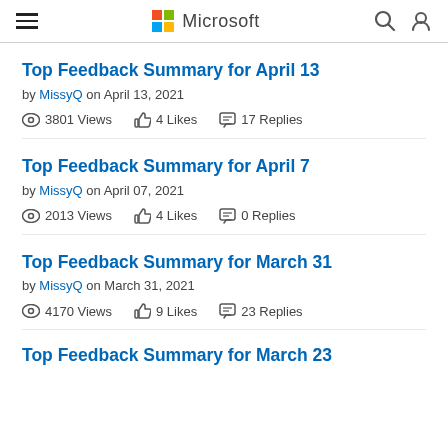Microsoft
Top Feedback Summary for April 13
by MissyQ on April 13, 2021
3801 Views   4 Likes   17 Replies
Top Feedback Summary for April 7
by MissyQ on April 07, 2021
2013 Views   4 Likes   0 Replies
Top Feedback Summary for March 31
by MissyQ on March 31, 2021
4170 Views   9 Likes   23 Replies
Top Feedback Summary for March 23